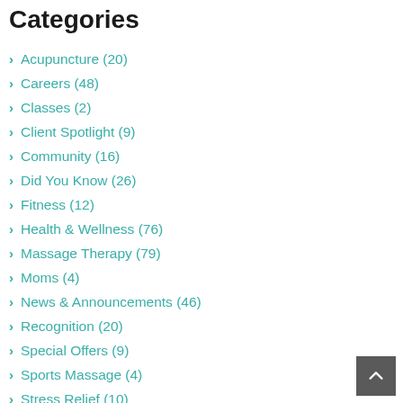Categories
Acupuncture (20)
Careers (48)
Classes (2)
Client Spotlight (9)
Community (16)
Did You Know (26)
Fitness (12)
Health & Wellness (76)
Massage Therapy (79)
Moms (4)
News & Announcements (46)
Recognition (20)
Special Offers (9)
Sports Massage (4)
Stress Relief (10)
Workplace Wellness (8)